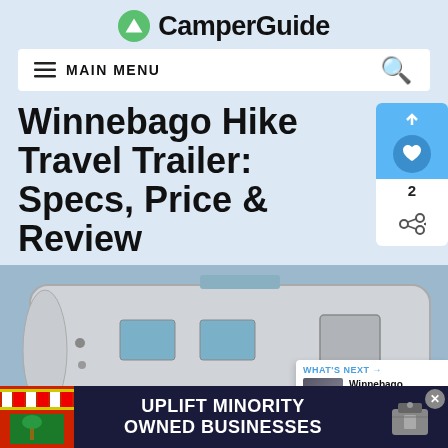CamperGuide
MAIN MENU
Winnebago Hike Travel Trailer: Specs, Price & Review
[Figure (photo): Close-up photo of a Winnebago travel trailer exterior, showing the side panel with the WINNEBAGO logo text, and a rounded corner of the trailer body with windows visible.]
WHAT'S NEXT → Winnebago Micro Minni...
[Figure (infographic): Advertisement banner: UPLIFT MINORITY OWNED BUSINESSES]